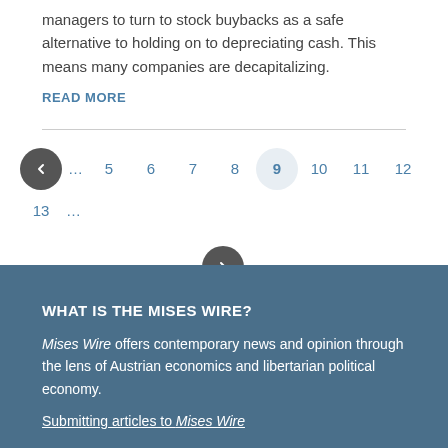managers to turn to stock buybacks as a safe alternative to holding on to depreciating cash. This means many companies are decapitalizing.
READ MORE
Pagination: ← … 5 6 7 8 9 10 11 12 13 … →
WHAT IS THE MISES WIRE?
Mises Wire offers contemporary news and opinion through the lens of Austrian economics and libertarian political economy.
Submitting articles to Mises Wire